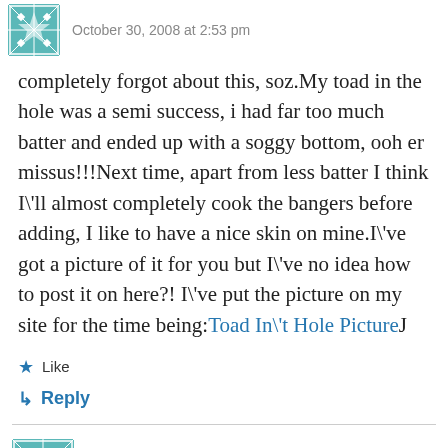October 30, 2008 at 2:53 pm
completely forgot about this, soz.My toad in the hole was a semi success, i had far too much batter and ended up with a soggy bottom, ooh er missus!!!Next time, apart from less batter I think I\'ll almost completely cook the bangers before adding, I like to have a nice skin on mine.I\'ve got a picture of it for you but I\'ve no idea how to post it on here?! I\'ve put the picture on my site for the time being:Toad In\'t Hole PictureJ
Like
Reply
NEIL B
October 30, 2008 at 5:02 pm